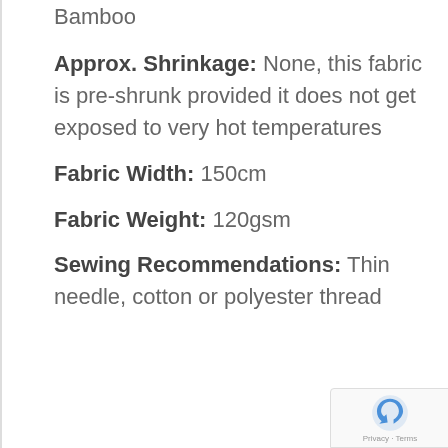Bamboo
Approx. Shrinkage: None, this fabric is pre-shrunk provided it does not get exposed to very hot temperatures
Fabric Width: 150cm
Fabric Weight: 120gsm
Sewing Recommendations: Thin needle, cotton or polyester thread